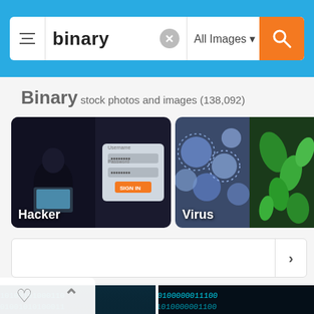[Figure (screenshot): Search bar with 'binary' query text, filter icon, clear button, All Images dropdown, and orange search button on blue background]
Binary stock photos and images (138,092)
[Figure (screenshot): Category thumbnails showing 'Hacker' (dark hacker with laptop and login screen) and 'Virus' (blue/green microscopic virus images) with right arrow navigation]
[Figure (screenshot): Filter/sort row with right arrow button]
[Figure (screenshot): Binary code stock photos: left shows glowing cyan 0s and 1s on blue background; right shows binary digits in perspective on dark background]
[Figure (screenshot): Heart and up-chevron overlay buttons at bottom left]